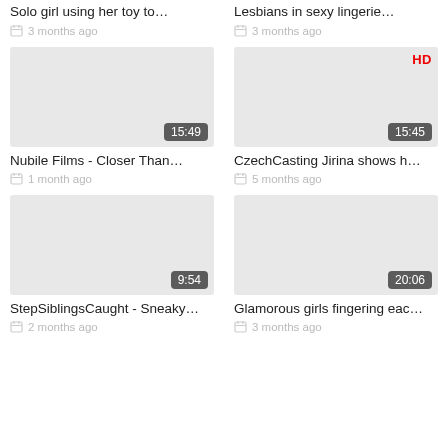Solo girl using her toy to…
3 months ago
Lesbians in sexy lingerie…
3 months ago
[Figure (other): Video thumbnail placeholder, gray, with duration badge 15:49]
Nubile Films - Closer Than…
1 month ago
[Figure (other): Video thumbnail placeholder, gray, with HD badge and duration badge 15:45]
CzechCasting Jirina shows h…
5 months ago
[Figure (other): Video thumbnail placeholder, gray, with duration badge 9:54]
StepSiblingsCaught - Sneaky…
2 months ago
[Figure (other): Video thumbnail placeholder, gray, with duration badge 20:06]
Glamorous girls fingering eac…
3 months ago